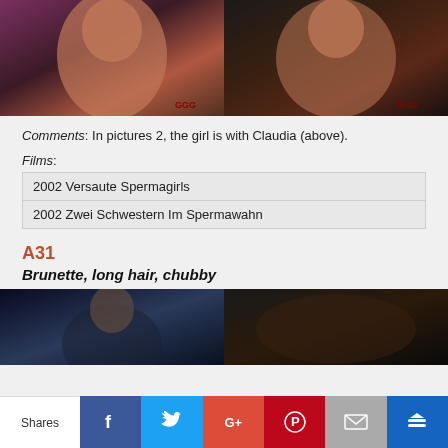[Figure (photo): Two photos side by side: left shows a woman smiling with short hair in leopard print top, right shows a woman with mouth open being held by a hand, both watermarked GGG]
Comments: In pictures 2, the girl is with Claudia (above).
Films:
| 2002 Versaute Spermagirls |
| 2002 Zwei Schwestern Im Spermawahn |
A31
Brunette, long hair, chubby
[Figure (photo): Two photos side by side at the bottom of the page, partially visible]
Shares  [Facebook] [Twitter] [Google+] [Pinterest] [Email] [Stumbleupon]